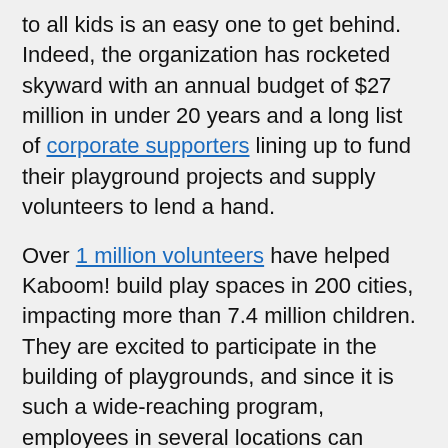to all kids is an easy one to get behind. Indeed, the organization has rocketed skyward with an annual budget of $27 million in under 20 years and a long list of corporate supporters lining up to fund their playground projects and supply volunteers to lend a hand.
Over 1 million volunteers have helped Kaboom! build play spaces in 200 cities, impacting more than 7.4 million children. They are excited to participate in the building of playgrounds, and since it is such a wide-reaching program, employees in several locations can participate. That is the attraction for CarMax, one of Kaboom!'s corporate